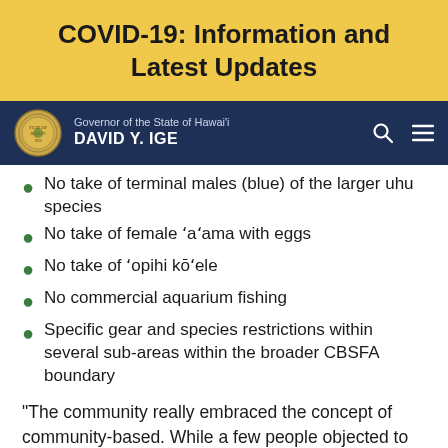COVID-19: Information and Latest Updates
Governor of the State of Hawai'i DAVID Y. IGE
No take of terminal males (blue) of the larger uhu species
No take of female ‘a’ama with eggs
No take of ‘opihi kō’ele
No commercial aquarium fishing
Specific gear and species restrictions within several sub-areas within the broader CBSFA boundary
“The community really embraced the concept of community-based. While a few people objected to some of the specific rules, the strong majority of people who offered comments during public